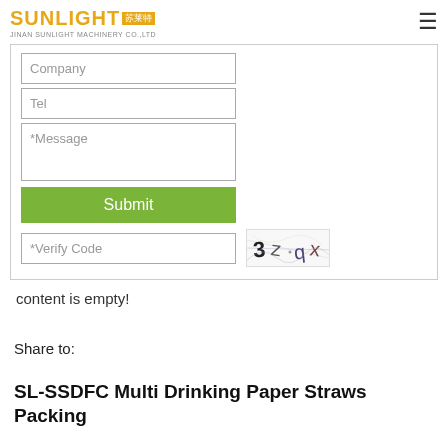SUNLIGHT 苏莱特 JINAN SUNLIGHT MACHINERY CO.,LTD
[Figure (screenshot): Web contact form with fields for Company, Tel, *Message, a green Submit button, and a *Verify Code field with CAPTCHA image showing '3 z q x']
content is empty!
Share to:
SL-SSDFC Multi Drinking Paper Straws Packing